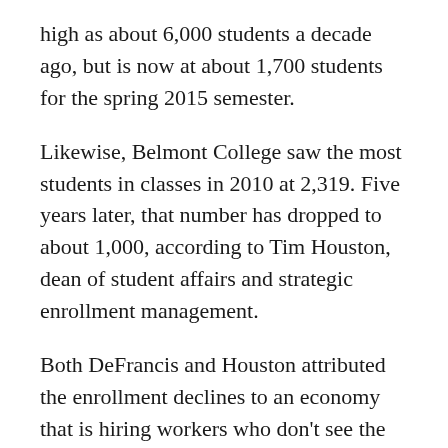high as about 6,000 students a decade ago, but is now at about 1,700 students for the spring 2015 semester.
Likewise, Belmont College saw the most students in classes in 2010 at 2,319. Five years later, that number has dropped to about 1,000, according to Tim Houston, dean of student affairs and strategic enrollment management.
Both DeFrancis and Houston attributed the enrollment declines to an economy that is hiring workers who don't see the need for more training and education.
“As a general rule, when the economy is doing poorly, community colleges and colleges in general do